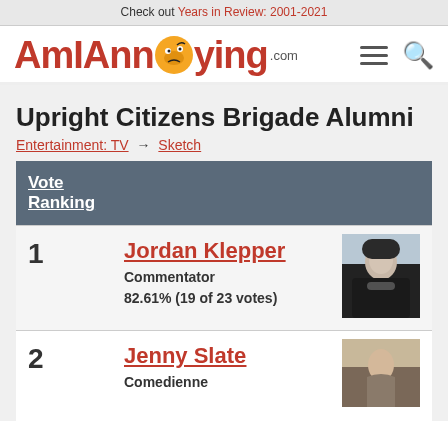Check out Years in Review: 2001-2021
[Figure (logo): AmlAnnoying.com logo with emoji face, hamburger menu icon, and search icon]
Upright Citizens Brigade Alumni
Entertainment: TV → Sketch
| Vote Ranking |  |  |
| --- | --- | --- |
| 1 | Jordan Klepper
Commentator
82.61% (19 of 23 votes) | [photo] |
| 2 | Jenny Slate
Comedienne | [photo] |